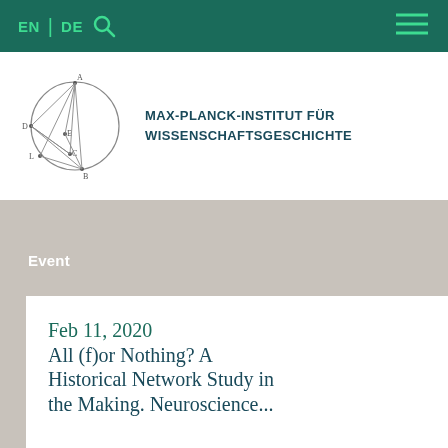EN | DE [search] [menu]
[Figure (logo): Max-Planck-Institut für Wissenschaftsgeschichte logo with geometric circle diagram]
MAX-PLANCK-INSTITUT FÜR WISSENSCHAFTSGESCHICHTE
Event
Feb 11, 2020
All (f)or Nothing? A Historical Network Study in the Making. Neuroscience...